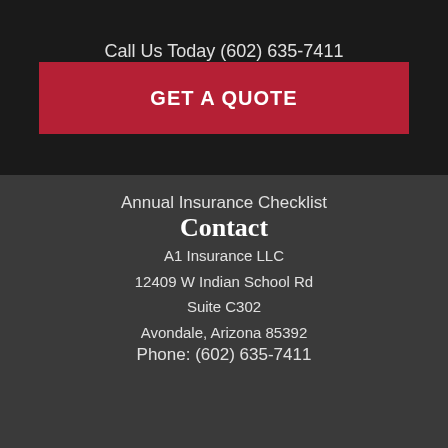Call Us Today (602) 635-7411
GET A QUOTE
Annual Insurance Checklist
Contact
A1 Insurance LLC
12409 W Indian School Rd
Suite C302
Avondale, Arizona 85392
Phone: (602) 635-7411